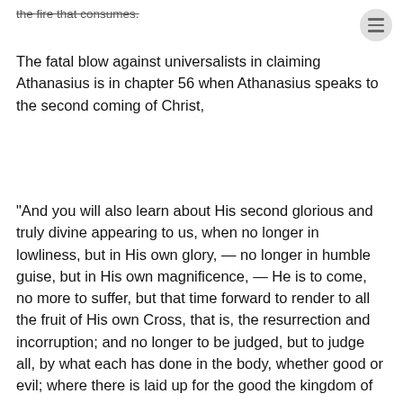the fire that consumes.
The fatal blow against universalists in claiming Athanasius is in chapter 56 when Athanasius speaks to the second coming of Christ,
“And you will also learn about His second glorious and truly divine appearing to us, when no longer in lowliness, but in His own glory, — no longer in humble guise, but in His own magnificence, — He is to come, no more to suffer, but that time forward to render to all the fruit of His own Cross, that is, the resurrection and incorruption; and no longer to be judged, but to judge all, by what each has done in the body, whether good or evil; where there is laid up for the good the kingdom of